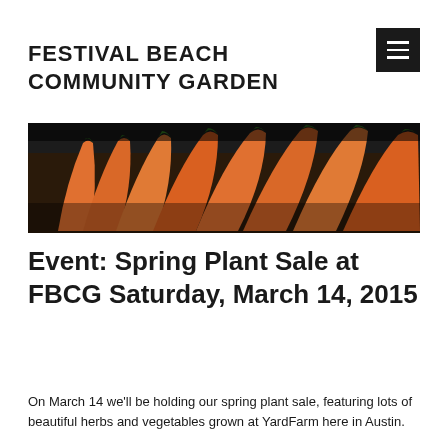FESTIVAL BEACH COMMUNITY GARDEN
[Figure (photo): Close-up photograph of fresh carrots with green tops on a dark background]
Event: Spring Plant Sale at FBCG Saturday, March 14, 2015
On March 14 we'll be holding our spring plant sale, featuring lots of beautiful herbs and vegetables grown at YardFarm here in Austin.